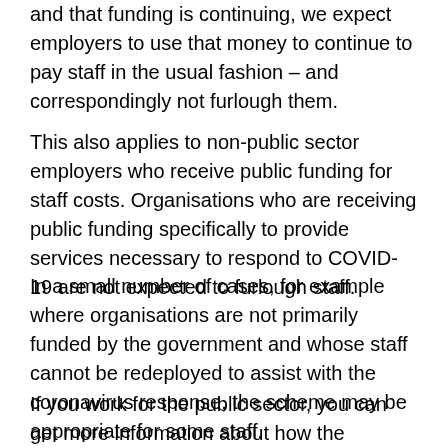and that funding is continuing, we expect employers to use that money to continue to pay staff in the usual fashion – and correspondingly not furlough them.
This also applies to non-public sector employers who receive public funding for staff costs. Organisations who are receiving public funding specifically to provide services necessary to respond to COVID-19 are not expected to furlough staff.
In a small number of cases, for example where organisations are not primarily funded by the government and whose staff cannot be redeployed to assist with the coronavirus response, the scheme may be appropriate for some staff.
If you work for the public sector, you can get more information about how the scheme works for you from your UK Government Department, employer or, in the case of employers funded by the Scottish Government, Welsh Government or Northern Ireland Executive,